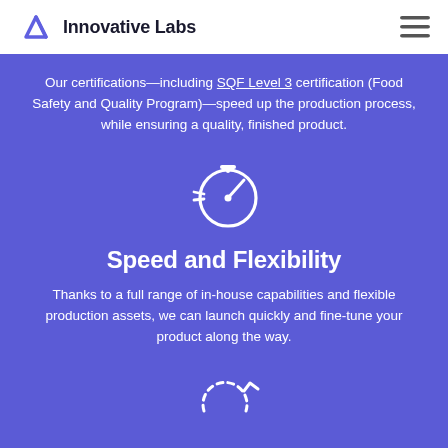Innovative Labs
Our certifications—including SQF Level 3 certification (Food Safety and Quality Program)—speed up the production process, while ensuring a quality, finished product.
[Figure (illustration): Speedometer / stopwatch icon in white on purple background]
Speed and Flexibility
Thanks to a full range of in-house capabilities and flexible production assets, we can launch quickly and fine-tune your product along the way.
[Figure (illustration): Circular refresh/rotation arrow icon in white on purple background]